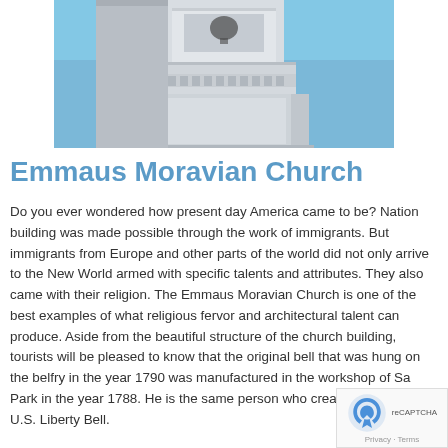[Figure (photo): Close-up photograph of the upper portion of the Emmaus Moravian Church steeple/belfry against a blue sky, showing white/grey architectural details including columns, cornices, and decorative moldings]
Emmaus Moravian Church
Do you ever wondered how present day America came to be? Nation building was made possible through the work of immigrants. But immigrants from Europe and other parts of the world did not only arrive to the New World armed with specific talents and attributes. They also came with their religion. The Emmaus Moravian Church is one of the best examples of what religious fervor and architectural talent can produce. Aside from the beautiful structure of the church building, tourists will be pleased to know that the original bell that was hung on the belfry in the year 1790 was manufactured in the workshop of Sa... Park in the year 1788. He is the same person who created... iconic U.S. Liberty Bell.